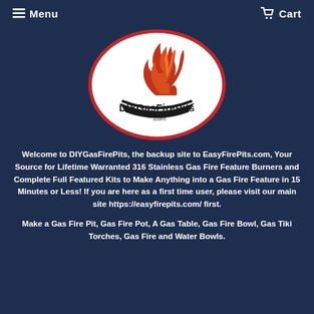Menu   Cart
[Figure (logo): DIYGasFirePits.com oval logo with flame graphic on white background with red border]
Welcome to DIYGasFirePits, the backup site to EasyFirePits.com, Your Source for Lifetime Warranted 316 Stainless Gas Fire Feature Burners and Complete Full Featured Kits to Make Anything into a Gas Fire Feature in 15 Minutes or Less! If you are here as a first time user, please visit our main site https://easyfirepits.com/ first.
Make a Gas Fire Pit, Gas Fire Pot, A Gas Table, Gas Fire Bowl, Gas Tiki Torches, Gas Fire and Water Bowls.